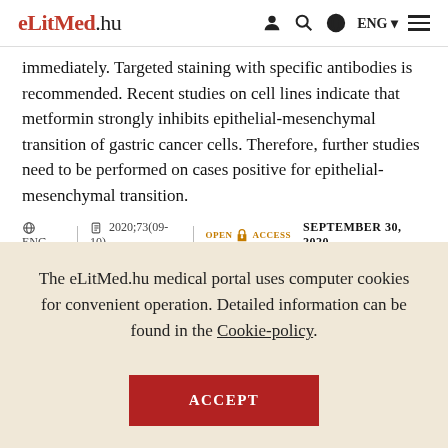eLitMed.hu | ENG
immediately. Targeted staining with specific antibodies is recommended. Recent studies on cell lines indicate that metformin strongly inhibits epithelial-mesenchymal transition of gastric cancer cells. Therefore, further studies need to be performed on cases positive for epithelial-mesenchymal transition.
ENG | 2020;73(09-10) | OPEN ACCESS | SEPTEMBER 30, 2020
The eLitMed.hu medical portal uses computer cookies for convenient operation. Detailed information can be found in the Cookie-policy.
ACCEPT